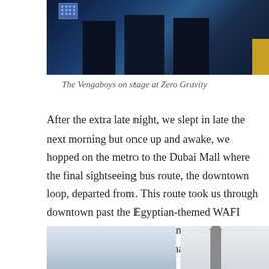[Figure (photo): The Vengaboys performing on stage at Zero Gravity, lit with blue stage lighting, silhouettes of performers visible]
The Vengaboys on stage at Zero Gravity
After the extra late night, we slept in late the next morning but once up and awake, we hopped on the metro to the Dubai Mall where the final sightseeing bus route, the downtown loop, departed from. This route took us through downtown past the Egyptian-themed WAFI mall (yes, yet another shopping centre – I've never known a city with so many!!) and up to Dubai Creek.
[Figure (photo): Partial view of what appears to be an Egyptian-themed building structure against a blue sky]
[Figure (photo): Partial view of a tall obelisk or tower structure against a blue sky]